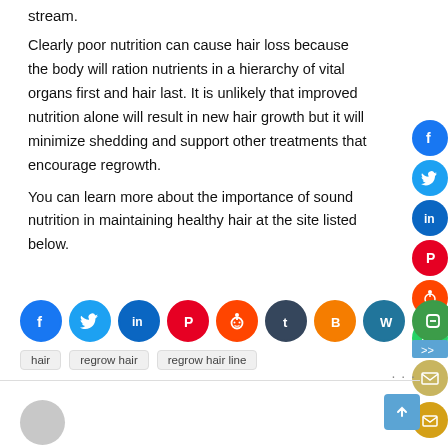stream.
Clearly poor nutrition can cause hair loss because the body will ration nutrients in a hierarchy of vital organs first and hair last. It is unlikely that improved nutrition alone will result in new hair growth but it will minimize shedding and support other treatments that encourage regrowth.
You can learn more about the importance of sound nutrition in maintaining healthy hair at the site listed below.
[Figure (infographic): Row of social media share icons: Facebook, Twitter, LinkedIn, Pinterest, Reddit, Tumblr, Blogger, WordPress, Line, Buffer, WhatsApp, Email]
hair
regrow hair
regrow hair line